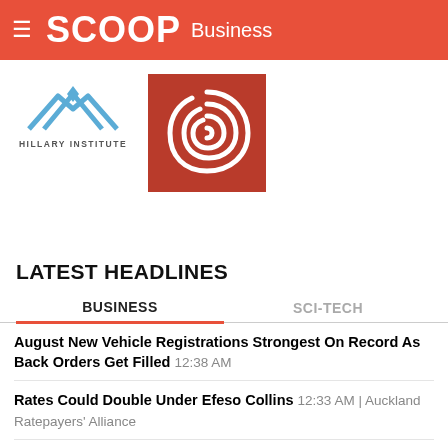SCOOP Business
[Figure (logo): Hillary Institute logo - blue mountain/chevron icon with text HILLARY INSTITUTE below]
[Figure (logo): Scoop media red square icon logo with white spiral/swirl design]
LATEST HEADLINES
BUSINESS | SCI-TECH tabs
August New Vehicle Registrations Strongest On Record As Back Orders Get Filled 12:38 AM
Rates Could Double Under Efeso Collins 12:33 AM | Auckland Ratepayers' Alliance
New Zealand Healthtech Insights Report Offers Timely Deep Dive Into NZ's Largest... 12:32 AM